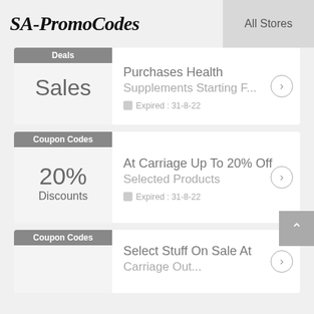SA-PromoCodes   All Stores
Deals
Sales
Purchases Health Supplements Starting F...
Expired : 31-8-22
Coupon Codes
20% Discounts
At Carriage Up To 20% Off Selected Products
Expired : 31-8-22
Coupon Codes
Select Stuff On Sale At Carriage...